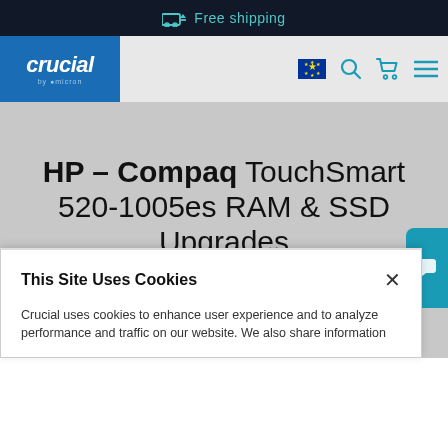Free shipping
[Figure (logo): Crucial by Micron logo — white italic text on blue background]
HP – Compaq TouchSmart 520-1005es RAM & SSD Upgrades
We have compatible memory upgrades for your system
This Site Uses Cookies
Crucial uses cookies to enhance user experience and to analyze performance and traffic on our website. We also share information